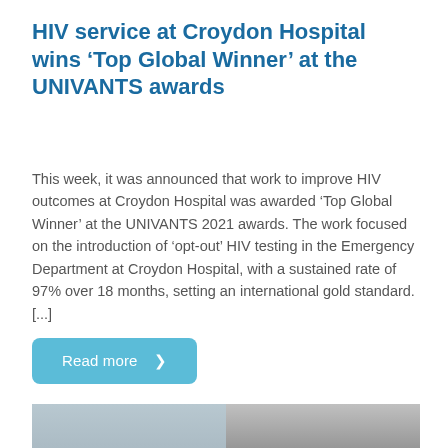HIV service at Croydon Hospital wins 'Top Global Winner' at the UNIVANTS awards
This week, it was announced that work to improve HIV outcomes at Croydon Hospital was awarded 'Top Global Winner' at the UNIVANTS 2021 awards. The work focused on the introduction of 'opt-out' HIV testing in the Emergency Department at Croydon Hospital, with a sustained rate of 97% over 18 months, setting an international gold standard. [...]
Read more >
[Figure (photo): Photo of a woman with dark curly hair, appearing to be in a medical or laboratory setting, smiling downward]